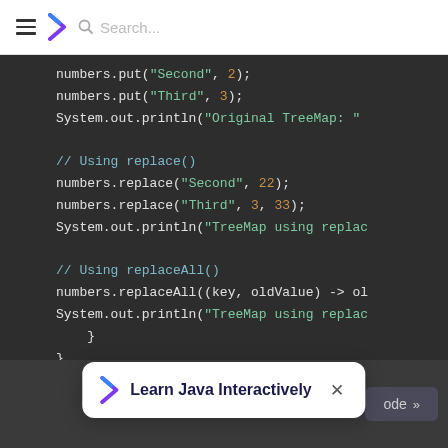[Figure (screenshot): Navigation bar with hamburger menu, Programiz logo, and search bar]
[Figure (screenshot): Code editor screenshot showing Java TreeMap code with replace() and replaceAll() methods in a dark theme IDE]
[Figure (screenshot): Popup banner at the bottom saying 'Learn Java Interactively' with a close button]